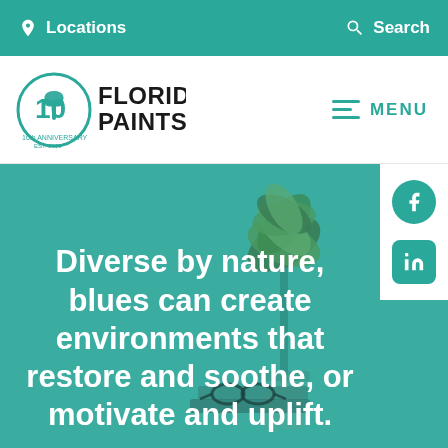Locations   Search
[Figure (logo): Florida Paints 10th Anniversary logo with palm tree icon and text FLORIDA PAINTS]
MENU
[Figure (illustration): Teal/green background with a potted plant and glasses on books, serving as a hero banner image]
Diverse by nature, blues can create environments that restore and soothe, or motivate and uplift.